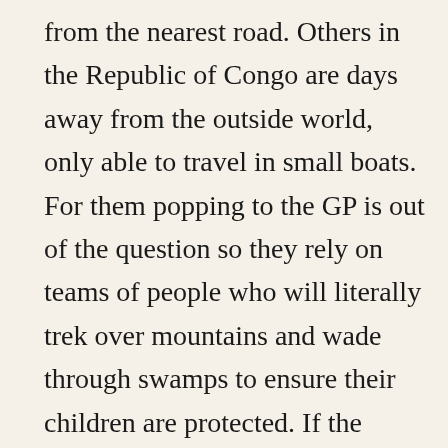from the nearest road. Others in the Republic of Congo are days away from the outside world, only able to travel in small boats. For them popping to the GP is out of the question so they rely on teams of people who will literally trek over mountains and wade through swamps to ensure their children are protected. If the weather, or the politics stops them getting through then the children could miss out. How lucky I am to just take it for granted that I need never worry about my child being crippled by polio, blinded by measles or